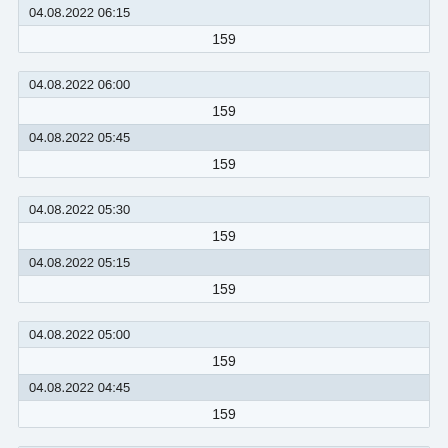| 04.08.2022 06:15 |
| --- |
| 159 |
| 04.08.2022 06:00 |
| --- |
| 159 |
| 04.08.2022 05:45 |
| 159 |
| 04.08.2022 05:30 |
| --- |
| 159 |
| 04.08.2022 05:15 |
| 159 |
| 04.08.2022 05:00 |
| --- |
| 159 |
| 04.08.2022 04:45 |
| 159 |
| 04.08.2022 04:30 |
| --- |